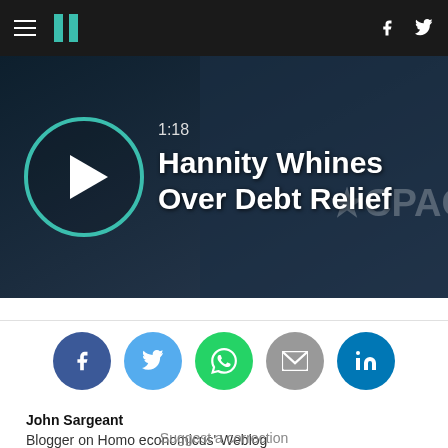HuffPost navigation with hamburger menu, logo, Facebook and Twitter icons
[Figure (screenshot): Video thumbnail showing '1:18 Hannity Whines Over Debt Relief' with play button circle and CPAC backdrop]
[Figure (infographic): Social share buttons: Facebook, Twitter, WhatsApp, Email, LinkedIn]
John Sargeant
Blogger on Homo economicus' Weblog
Suggest a correction